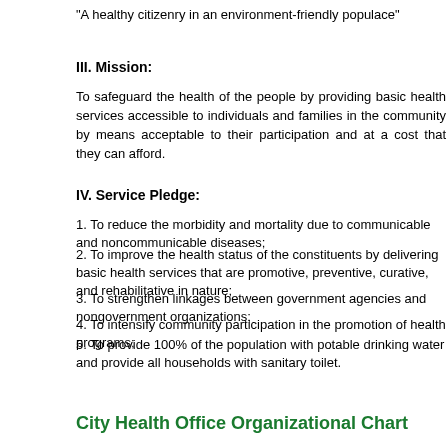"A healthy citizenry in an environment-friendly populace"
III. Mission:
To safeguard the health of the people by providing basic health services accessible to individuals and families in the community by means acceptable to their participation and at a cost that they can afford.
IV. Service Pledge:
1. To reduce the morbidity and mortality due to communicable and noncommunicable diseases;
2. To improve the health status of the constituents by delivering basic health services that are promotive, preventive, curative, and rehabilitative in nature;
3. To strengthen linkages between government agencies and nongovernment organizations;
4. To intensify community participation in the promotion of health programs;
5. To provide 100% of the population with potable drinking water and provide all households with sanitary toilet.
City Health Office Organizational Chart